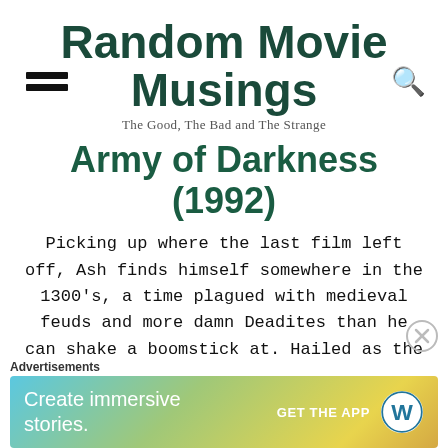Random Movie Musings
The Good, The Bad and The Strange
Army of Darkness (1992)
Picking up where the last film left off, Ash finds himself somewhere in the 1300's, a time plagued with medieval feuds and more damn Deadites than he can shake a boomstick at. Hailed as the prophesied one, the wise man of the castle says that in order to go home and banish the darkness, Ash [...]
[Figure (other): Advertisement banner: 'Create immersive stories. GET THE APP' with WordPress logo, gradient background from teal to gold]
Advertisements